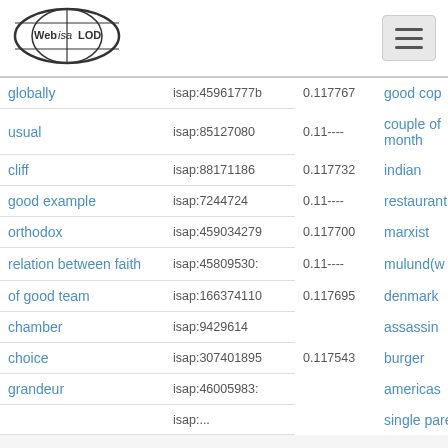[Figure (logo): Web isa LOD logo with globe/oval shape]
| Term | ISAP ID | Score | Right Term | Right ISAP ID |
| --- | --- | --- | --- | --- |
| globally | isap:45961777b | 0.117767 | good cop | isap:2517037 |
| usual | isap:85127080 |  | couple of month | isap:4953763 |
| cliff | isap:88171186 | 0.117732 | indian | isap:4885308 |
| good example | isap:7244724 |  | restaurant | isap:5051490 |
| orthodox | isap:459034279 | 0.117700 | marxist | isap:7052005 |
| relation between faith | isap:45809530: |  | mulund(w | isap:3842329 |
| of good team | isap:166374110 | 0.117695 | denmark | isap:7598184 |
| chamber | isap:9429614 |  | assassin | isap:3798407 |
| choice | isap:307401895 | 0.117543 | burger | isap:4956512 |
| grandeur | isap:46005983: |  | americas | isap:3821119 |
|  | isap:... |  | single parent | isap:4933... |